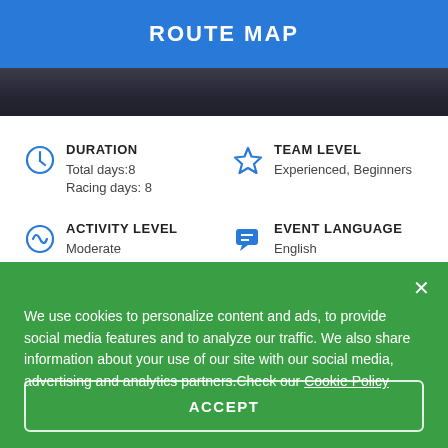ROUTE MAP
[Figure (photo): Dark stadium/road image strip]
DURATION
Total days:8
Racing days: 8
TEAM LEVEL
Experienced, Beginners
ACTIVITY LEVEL
Moderate
EVENT LANGUAGE
English
We use cookies to personalize content and ads, to provide social media features and to analyze our traffic. We also share information about your use of our site with our social media, advertising and analytics partners.Check our Cookie Policy
ACCEPT